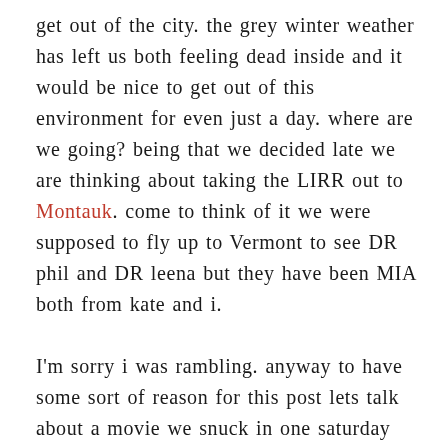get out of the city. the grey winter weather has left us both feeling dead inside and it would be nice to get out of this environment for even just a day. where are we going? being that we decided late we are thinking about taking the LIRR out to Montauk. come to think of it we were supposed to fly up to Vermont to see DR phil and DR leena but they have been MIA both from kate and i.

I'm sorry i was rambling. anyway to have some sort of reason for this post lets talk about a movie we snuck in one saturday night. there will be blood , nominated for an oscar stars